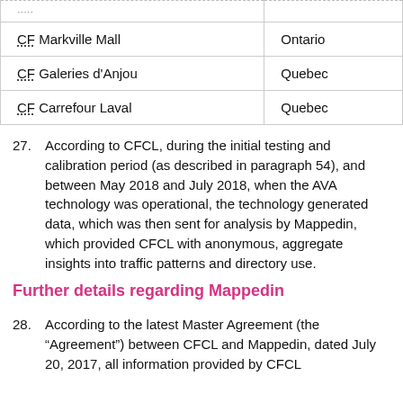| Mall | Province |
| --- | --- |
| ..... |  |
| CF Markville Mall | Ontario |
| CF Galeries d'Anjou | Quebec |
| CF Carrefour Laval | Quebec |
27. According to CFCL, during the initial testing and calibration period (as described in paragraph 54), and between May 2018 and July 2018, when the AVA technology was operational, the technology generated data, which was then sent for analysis by Mappedin, which provided CFCL with anonymous, aggregate insights into traffic patterns and directory use.
Further details regarding Mappedin
28. According to the latest Master Agreement (the “Agreement”) between CFCL and Mappedin, dated July 20, 2017, all information provided by CFCL